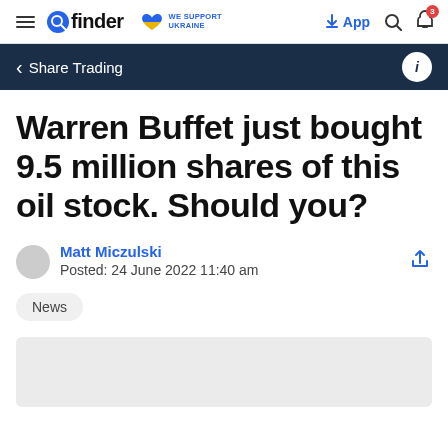finder | WE SUPPORT UKRAINE | App
< Share Trading
Warren Buffet just bought 9.5 million shares of this oil stock. Should you?
Matt Miczulski
Posted: 24 June 2022 11:40 am
News
[Figure (photo): Light gray image placeholder at the bottom of the page]